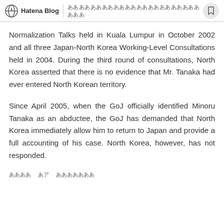Hatena Blog | ああああああああああああああああああああああああああ
Normalization Talks held in Kuala Lumpur in October 2002 and all three Japan-North Korea Working-Level Consultations held in 2004. During the third round of consultations, North Korea asserted that there is no evidence that Mr. Tanaka had ever entered North Korean territory.
Since April 2005, when the GoJ officially identified Minoru Tanaka as an abductee, the GoJ has demanded that North Korea immediately allow him to return to Japan and provide a full accounting of his case. North Korea, however, has not responded.
ああああ　あア　あああああああ